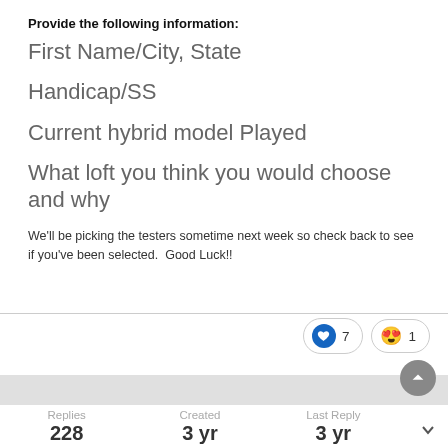Provide the following information:
First Name/City, State
Handicap/SS
Current hybrid model Played
What loft you think you would choose and why
We'll be picking the testers sometime next week so check back to see if you've been selected.  Good Luck!!
[Figure (infographic): Reaction pills: blue heart icon with count 7, and a heart-eyes emoji with count 1. Gray scroll-to-top button.]
Replies
228
Created
3 yr
Last Reply
3 yr